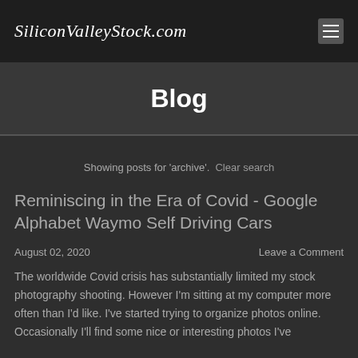SiliconValleyStock.com
Blog
Showing posts for 'archive'. Clear search
Reminiscing in the Era of Covid - Google Alphabet Waymo Self Driving Cars
August 02, 2020   Leave a Comment
The worldwide Covid crisis has substantially limited my stock photography shooting. However I'm sitting at my computer more often than I'd like. I've started trying to organize photos online. Occasionally I'll find some nice or interesting photos I've